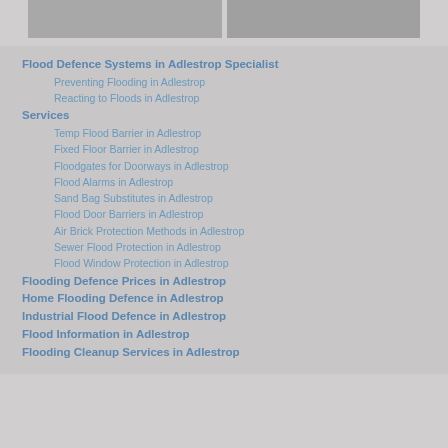[Figure (photo): Two photos side by side at the top of the page, partially cropped, showing flood-related imagery on a grey background.]
Flood Defence Systems in Adlestrop Specialist
Preventing Flooding in Adlestrop
Reacting to Floods in Adlestrop
Services
Temp Flood Barrier in Adlestrop
Fixed Floor Barrier in Adlestrop
Floodgates for Doorways in Adlestrop
Flood Alarms in Adlestrop
Sand Bag Substitutes in Adlestrop
Flood Door Barriers in Adlestrop
Air Brick Protection Methods in Adlestrop
Sewer Flood Protection in Adlestrop
Flood Window Protection in Adlestrop
Flooding Defence Prices in Adlestrop
Home Flooding Defence in Adlestrop
Industrial Flood Defence in Adlestrop
Flood Information in Adlestrop
Flooding Cleanup Services in Adlestrop